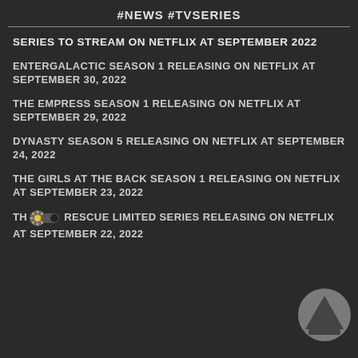#NEWS #TVSERIES
SERIES TO STREAM ON NETFLIX AT SEPTEMBER 2022
ENTERGALACTIC SEASON 1 RELEASING ON NETFLIX AT SEPTEMBER 30, 2022
THE EMPRESS SEASON 1 RELEASING ON NETFLIX AT SEPTEMBER 29, 2022
DYNASTY SEASON 5 RELEASING ON NETFLIX AT SEPTEMBER 24, 2022
THE GIRLS AT THE BACK SEASON 1 RELEASING ON NETFLIX AT SEPTEMBER 23, 2022
THE [RESCUE] LIMITED SERIES RELEASING ON NETFLIX AT SEPTEMBER 22, 2022